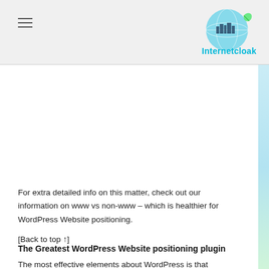Internetcloak (logo/nav bar)
[Figure (logo): Internetcloak website logo with globe and city skyline graphic, teal and green colors, text reads 'Internetcloak']
For extra detailed info on this matter, check out our information on www vs non-www – which is healthier for WordPress Website positioning.
[Back to top ↑]
The Greatest WordPress Website positioning plugin
The most effective elements about WordPress is that